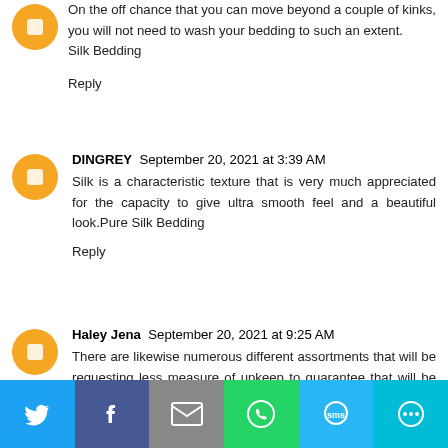On the off chance that you can move beyond a couple of kinks, you will not need to wash your bedding to such an extent. Silk Bedding
Reply
DINGREY  September 20, 2021 at 3:39 AM
Silk is a characteristic texture that is very much appreciated for the capacity to give ultra smooth feel and a beautiful look.Pure Silk Bedding
Reply
Haley Jena  September 20, 2021 at 9:25 AM
There are likewise numerous different assortments that will be requesting less measure of upkeep to guarantee that will be not difficult to utilize. Pure Silk Bedding
[Figure (infographic): Social sharing toolbar with icons for Twitter, Facebook, Email, WhatsApp, SMS, and More]